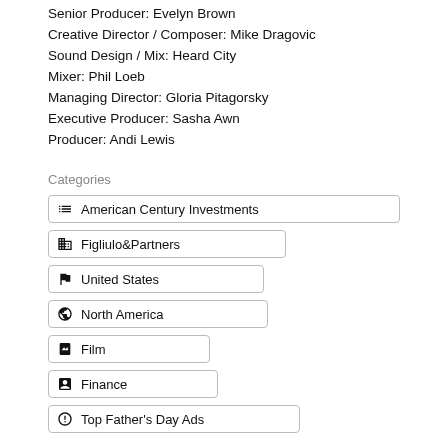Senior Producer: Evelyn Brown
Creative Director / Composer: Mike Dragovic
Sound Design / Mix: Heard City
Mixer: Phil Loeb
Managing Director: Gloria Pitagorsky
Executive Producer: Sasha Awn
Producer: Andi Lewis
Categories
American Century Investments
Figliulo&Partners
United States
North America
Film
Finance
Top Father's Day Ads